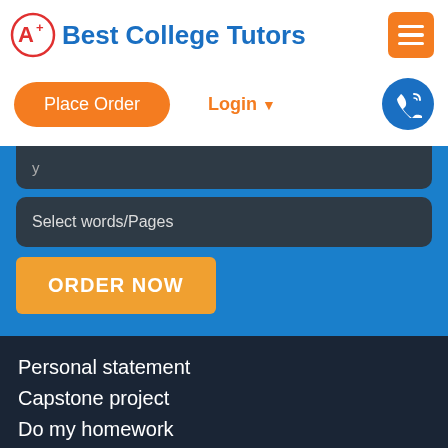[Figure (logo): A+ Best College Tutors logo with red circle A+ icon and blue bold text]
Place Order
Login
Select words/Pages
ORDER NOW
Personal statement
Capstone project
Do my homework
Buy essay
Pay for essay
Chat